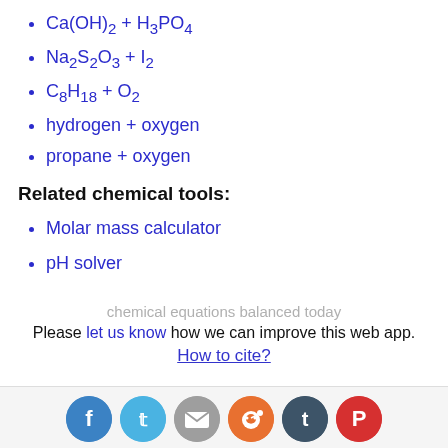Ca(OH)2 + H3PO4
Na2S2O3 + I2
C8H18 + O2
hydrogen + oxygen
propane + oxygen
Related chemical tools:
Molar mass calculator
pH solver
chemical equations balanced today
Please let us know how we can improve this web app.
How to cite?